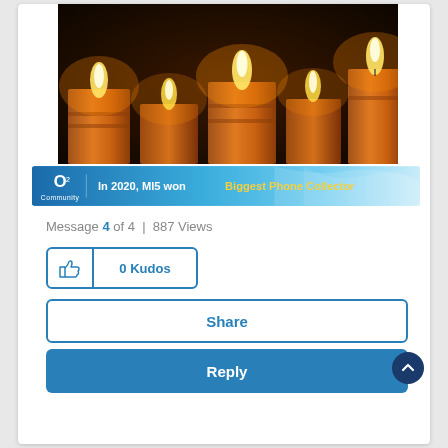[Figure (photo): Close-up photo of several lit orange/yellow candles against a dark background, flames glowing warmly.]
[Figure (screenshot): O2 Community banner showing 'In 2020, MI5 won Biggest Phone Collector' with O2 logo on blue background.]
Message 4 of 4  |  887 Views
0 Kudos
Share
Reply